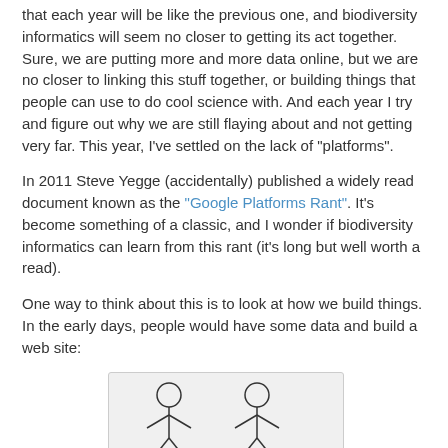that each year will be like the previous one, and biodiversity informatics will seem no closer to getting its act together. Sure, we are putting more and more data online, but we are no closer to linking this stuff together, or building things that people can use to do cool science with. And each year I try and figure out why we are still flaying about and not getting very far. This year, I've settled on the lack of "platforms".
In 2011 Steve Yegge (accidentally) published a widely read document known as the "Google Platforms Rant". It's become something of a classic, and I wonder if biodiversity informatics can learn from this rant (it's long but well worth a read).
One way to think about this is to look at how we build things. In the early days, people would have some data and build a web site:
[Figure (illustration): A diagram showing stick figures labeled DBA and Dev, partially visible, representing roles in early web site building.]